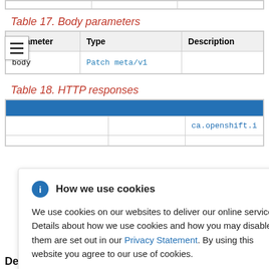| Parameter | Type | Description |
| --- | --- | --- |
| body | Patch meta/v1 |  |
Table 17. Body parameters
Table 18. HTTP responses
How we use cookies
We use cookies on our websites to deliver our online services. Details about how we use cookies and how you may disable them are set out in our Privacy Statement. By using this website you agree to our use of cookies.
Description